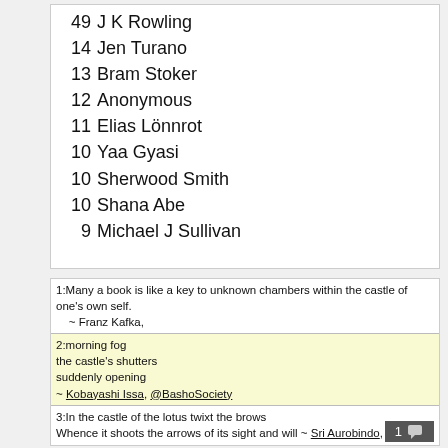49 J K Rowling
14 Jen Turano
13 Bram Stoker
12 Anonymous
11 Elias Lönnrot
10 Yaa Gyasi
10 Sherwood Smith
10 Shana Abe
9 Michael J Sullivan
0 - God
1 - Being
2 - Places
3 - Powers
4 - Injunctions
5 - Subjects
6 - Media
| 1:Many a book is like a key to unknown chambers within the castle of one's own self.
    ~ Franz Kafka, |
| 2:morning fog
the castle's shutters
suddenly opening
~ Kobayashi Issa, @BashoSociety |
| 3:In the castle of the lotus twixt the brows
Whence it shoots the arrows of its sight and will ~ Sri Aurobindo, Savitri,
The Finding of the Soul, |
| 4:The last thing that you remember is standing before the wizard Lakmir as he gestured wildly and chanted in an archaic tongue. Now you find yourself staring at an entryway which lies at the edge of a forest. The Druid's words still ring in your ears: "Within the walls of the Castle Shadowgate lies your quest. If the prophecies hold true, the dread Warlock Lord will use his dark magic to raise the Behemoth, the deadliest of the Titans, from the depths of the earth. You are the s |
1